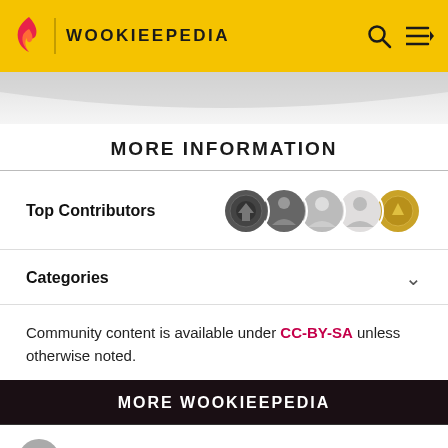WOOKIEEPEDIA
MORE INFORMATION
Top Contributors
Categories
Community content is available under CC-BY-SA unless otherwise noted.
MORE WOOKIEEPEDIA
1 Darth Sidious